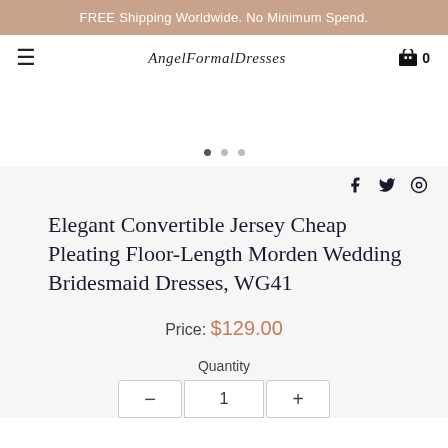FREE Shipping Worldwide. No Minimum Spend.
AngelFormalDresses
Elegant Convertible Jersey Cheap Pleating Floor-Length Morden Wedding Bridesmaid Dresses, WG41
Price: $129.00
Quantity